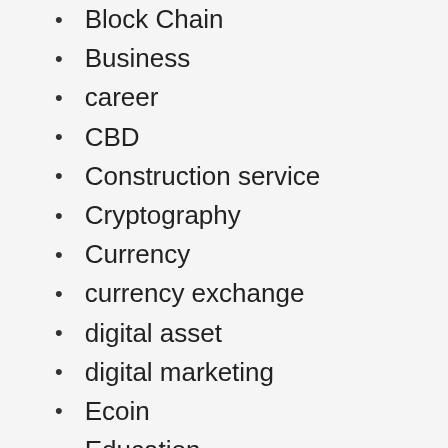Block Chain
Business
career
CBD
Construction service
Cryptography
Currency
currency exchange
digital asset
digital marketing
Ecoin
Education
Entertainment
Ethereum
Fashion
Finance